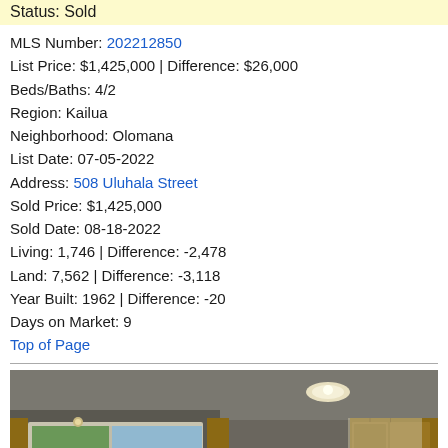Status: Sold
MLS Number: 202212850
List Price: $1,425,000 | Difference: $26,000
Beds/Baths: 4/2
Region: Kailua
Neighborhood: Olomana
List Date: 07-05-2022
Address: 508 Uluhala Street
Sold Price: $1,425,000
Sold Date: 08-18-2022
Living: 1,746 | Difference: -2,478
Land: 7,562 | Difference: -3,118
Year Built: 1962 | Difference: -20
Days on Market: 9
Top of Page
[Figure (photo): Interior kitchen photo showing wooden cabinets, dark countertop, white stove, two windows with view of neighboring house, decorative tile backsplash, and ceiling light fixture.]